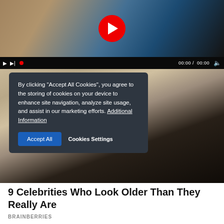[Figure (screenshot): Video player showing a woman in a white bikini top lying on a beach, with a red YouTube-style play button overlay. Video controls bar at the bottom shows 00:00 / 00:00 and a muted speaker icon.]
By clicking "Accept All Cookies", you agree to the storing of cookies on your device to enhance site navigation, analyze site usage, and assist in our marketing efforts. Additional Information
[Figure (photo): Photo of a blonde woman wearing black-rimmed glasses and a dark jacket, looking at the camera.]
9 Celebrities Who Look Older Than They Really Are
BRAINBERRIES